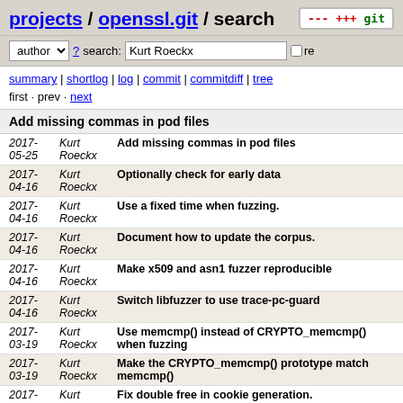projects / openssl.git / search
author ? search: Kurt Roeckx re
summary | shortlog | log | commit | commitdiff | tree
first · prev · next
Add missing commas in pod files
| Date | Author | Message |
| --- | --- | --- |
| 2017-
05-25 | Kurt
Roeckx | Add missing commas in pod files |
| 2017-
04-16 | Kurt
Roeckx | Optionally check for early data |
| 2017-
04-16 | Kurt
Roeckx | Use a fixed time when fuzzing. |
| 2017-
04-16 | Kurt
Roeckx | Document how to update the corpus. |
| 2017-
04-16 | Kurt
Roeckx | Make x509 and asn1 fuzzer reproducible |
| 2017-
04-16 | Kurt
Roeckx | Switch libfuzzer to use trace-pc-guard |
| 2017-
03-19 | Kurt
Roeckx | Use memcmp() instead of CRYPTO_memcmp() when fuzzing |
| 2017-
03-19 | Kurt
Roeckx | Make the CRYPTO_memcmp() prototype match memcmp() |
| 2017-
03-11 | Kurt | Fix double free in cookie generation. |